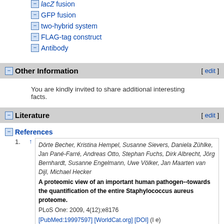lacZ fusion
GFP fusion
two-hybrid system
FLAG-tag construct
Antibody
Other Information
You are kindly invited to share additional interesting facts.
Literature
References
Dörte Becher, Kristina Hempel, Susanne Sievers, Daniela Zühlke, Jan Pané-Farré, Andreas Otto, Stephan Fuchs, Dirk Albrecht, Jörg Bernhardt, Susanne Engelmann, Uwe Völker, Jan Maarten van Dijl, Michael Hecker A proteomic view of an important human pathogen--towards the quantification of the entire Staphylococcus aureus proteome. PLoS One: 2009, 4(12);e8176 [PubMed:19997597] [WorldCat.org] [DOI] (I e)